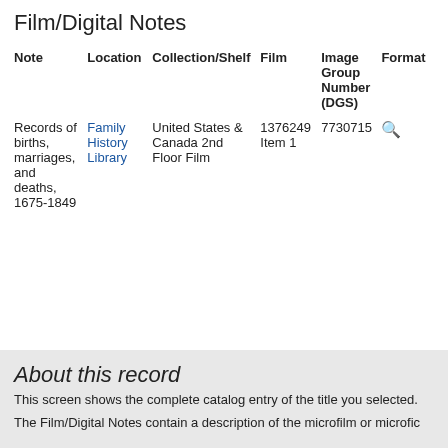Film/Digital Notes
| Note | Location | Collection/Shelf | Film | Image Group Number (DGS) | Format |
| --- | --- | --- | --- | --- | --- |
| Records of births, marriages, and deaths, 1675-1849 | Family History Library | United States & Canada 2nd Floor Film | 1376249 Item 1 | 7730715 | 🔍 |
About this record
This screen shows the complete catalog entry of the title you selected.
The Film/Digital Notes contain a description of the microfilm or microfic